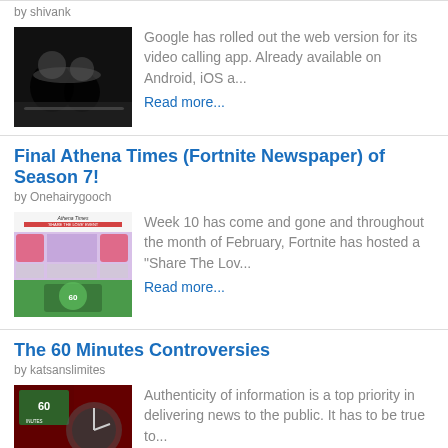by shivank
[Figure (photo): Black and white photo used as thumbnail for article]
Google has rolled out the web version for its video calling app. Already available on Android, iOS a...
Read more...
Final Athena Times (Fortnite Newspaper) of Season 7!
by Onehairygooch
[Figure (screenshot): Fortnite newspaper thumbnail - Athena Times Share The Love event]
Week 10 has come and gone and throughout the month of February, Fortnite has hosted a "Share The Lov...
Read more...
The 60 Minutes Controversies
by katsanslimites
[Figure (photo): 60 Minutes TV show thumbnail with red and dark background]
Authenticity of information is a top priority in delivering news to the public. It has to be true to...
Read more...